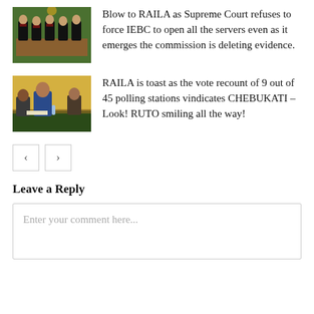[Figure (photo): Photo of people in black robes seated at a table, appearing to be judges or court officials in a formal setting with green backdrop]
Blow to RAILA as Supreme Court refuses to force IEBC to open all the servers even as it emerges the commission is deleting evidence.
[Figure (photo): Photo of people seated at a table in a meeting or session, with a man in a blue suit prominent in the foreground]
RAILA is toast as the vote recount of 9 out of 45 polling stations vindicates CHEBUKATI – Look! RUTO smiling all the way!
< >
Leave a Reply
Enter your comment here...